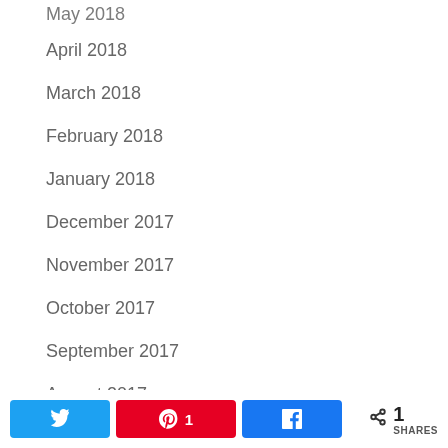May 2018
April 2018
March 2018
February 2018
January 2018
December 2017
November 2017
October 2017
September 2017
August 2017
May 2017
1 SHARES